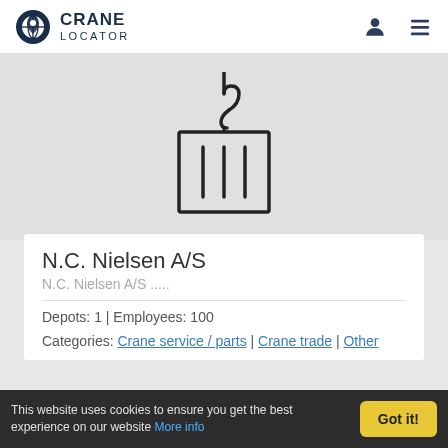[Figure (logo): Crane Locator logo with globe/pin icon and text CRANE LOCATOR]
[Figure (illustration): Icon of a crane hook lifting a box/crate with three vertical bars inside]
N.C. Nielsen A/S
N.C. Nielsen A/S .....
Depots: 1 | Employees: 100
Categories: Crane service / parts | Crane trade | Other
This website uses cookies to ensure you get the best experience on our website More info